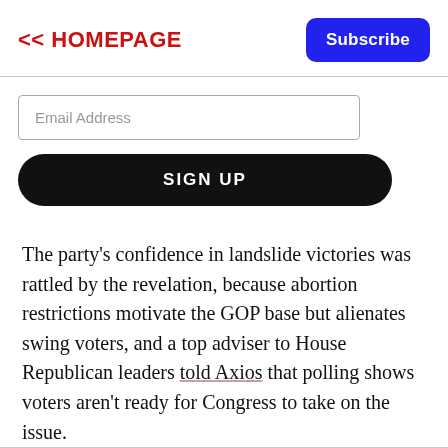<< HOMEPAGE
Email Address
SIGN UP
The party's confidence in landslide victories was rattled by the revelation, because abortion restrictions motivate the GOP base but alienates swing voters, and a top adviser to House Republican leaders told Axios that polling shows voters aren't ready for Congress to take on the issue.